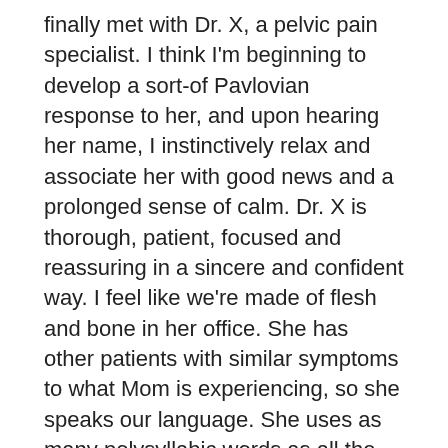finally met with Dr. X, a pelvic pain specialist. I think I'm beginning to develop a sort-of Pavlovian response to her, and upon hearing her name, I instinctively relax and associate her with good news and a prolonged sense of calm. Dr. X is thorough, patient, focused and reassuring in a sincere and confident way. I feel like we're made of flesh and bone in her office. She has other patients with similar symptoms to what Mom is experiencing, so she speaks our language. She uses as many polysyllabic words as all the other doctors, but when she speaks, it just makes sense.
We left there with a comprehensive course of action and a plan that we will be following and testing for the next 8-10 weeks. It includes all the elements that we've been discussing